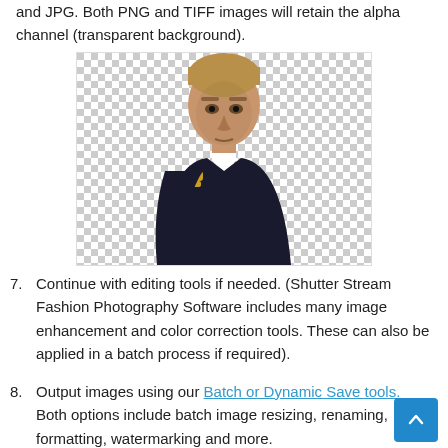and JPG. Both PNG and TIFF images will retain the alpha channel (transparent background).
[Figure (photo): A man in a dark naval uniform with gold epaulettes, looking stern, cut out against a transparent (checkerboard) background.]
7. Continue with editing tools if needed. (Shutter Stream Fashion Photography Software includes many image enhancement and color correction tools. These can also be applied in a batch process if required).
8. Output images using our Batch or Dynamic Save tools. Both options include batch image resizing, renaming, formatting, watermarking and more.